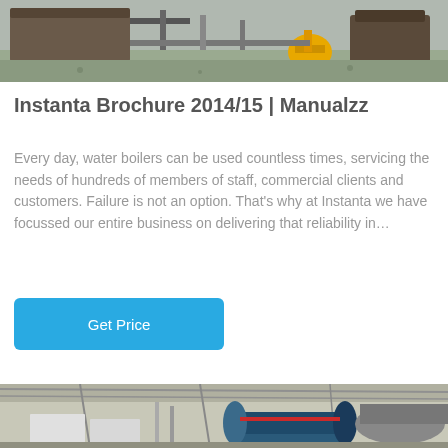[Figure (photo): Industrial boiler equipment outdoors, showing large tanks/boilers with yellow pump fittings on a concrete surface]
Instanta Brochure 2014/15 | Manualzz
Every day, water boilers can be used countless times, servicing the needs of hundreds of members of staff, commercial clients and customers. Failure is not an option. That's why at Instanta we have focussed our entire business on delivering that reliability in…
Get Price
[Figure (photo): Industrial boiler room interior showing multiple large cylindrical boilers (blue and grey) with piping, valves, and metal roof structure in a warehouse setting]